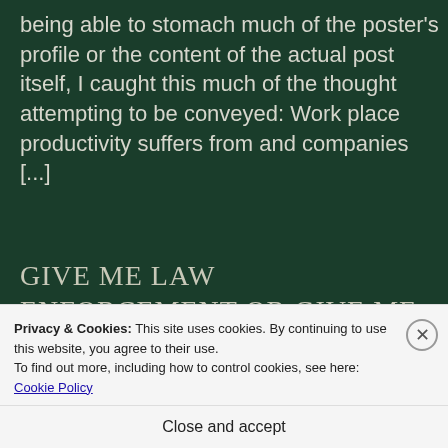being able to stomach much of the poster's profile or the content of the actual post itself, I caught this much of the thought attempting to be conveyed: Work place productivity suffers from and companies [...]
GIVE ME LAW ENFORCEMENT OR GIVE ME A GUN.
[Figure (photo): Partial view of a book or poster with golden/tan textured background and a red/black bar at the bottom]
Privacy & Cookies: This site uses cookies. By continuing to use this website, you agree to their use.
To find out more, including how to control cookies, see here: Cookie Policy
Close and accept